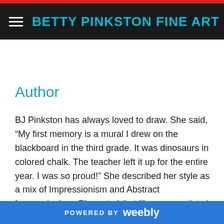BETTY PINKSTON FINE ART
Author
BJ Pinkston has always loved to draw. She said, “My first memory is a mural I drew on the blackboard in the third grade. It was dinosaurs in colored chalk. The teacher left it up for the entire year. I was so proud!” She described her style as a mix of Impressionism and Abstract Impressionism. She noted that like many artists in the beginning she painted realistic detailed paintings, but as the years have passed, her style has evolved .less detail
POWERED BY weebly